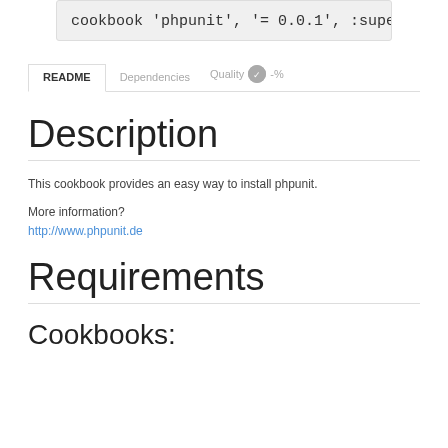cookbook 'phpunit', '= 0.0.1', :supermarket
README	Dependencies	Quality -%%
Description
This cookbook provides an easy way to install phpunit.
More information?
http://www.phpunit.de
Requirements
Cookbooks: